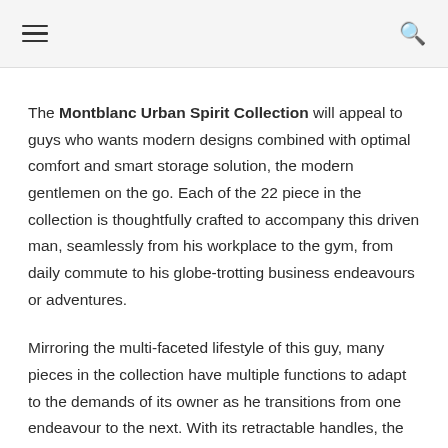☰  🔍
The Montblanc Urban Spirit Collection will appeal to guys who wants modern designs combined with optimal comfort and smart storage solution, the modern gentlemen on the go. Each of the 22 piece in the collection is thoughtfully crafted to accompany this driven man, seamlessly from his workplace to the gym, from daily commute to his globe-trotting business endeavours or adventures.
Mirroring the multi-faceted lifestyle of this guy, many pieces in the collection have multiple functions to adapt to the demands of its owner as he transitions from one endeavour to the next. With its retractable handles, the Slim Document Case